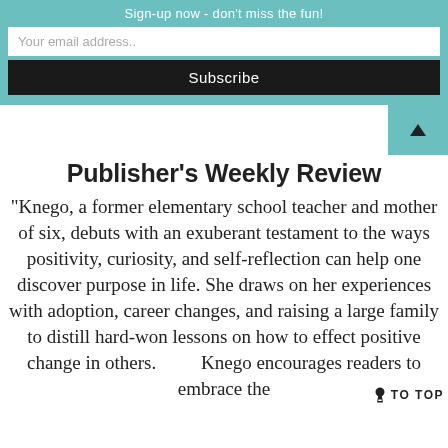Sign-up now - don't miss the fun!
Your email address..
Subscribe
Publisher's Weekly Review
“Knego, a former elementary school teacher and mother of six, debuts with an exuberant testament to the ways positivity, curiosity, and self-reflection can help one discover purpose in life. She draws on her experiences with adoption, career changes, and raising a large family to distill hard-won lessons on how to effect positive change in others. Knego encourages readers to embrace the
TO TOP